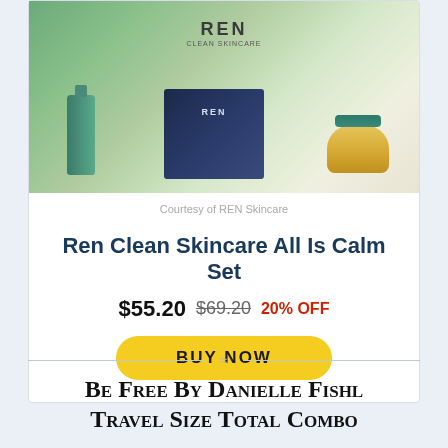[Figure (photo): Product photo of REN Clean Skincare All Is Calm Set showing skincare bottles and box with cream jar]
Courtesy of REN Skincare
Ren Clean Skincare All Is Calm Set
$55.20  $69.20  20% OFF
BUY NOW
Be Free by Danielle Fishl Travel Size Total Combo